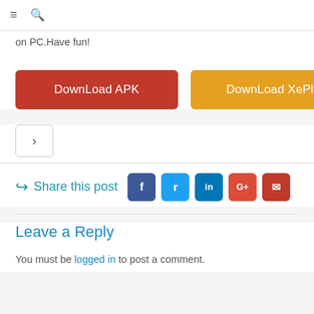≡  🔍
on PC.Have fun!
[Figure (other): Two download buttons: 'DownLoad APK' (red) and 'DownLoad XePlayer' (orange/yellow)]
[Figure (other): Navigation arrow box with a right-pointing chevron '>']
Share this post
Leave a Reply
You must be logged in to post a comment.